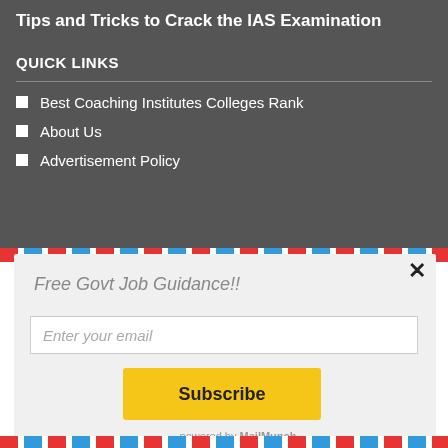Tips and Tricks to Crack the IAS Examination
QUICK LINKS
Best Coaching Institutes Colleges Rank
About Us
Advertisement Policy
Free Govt Job Guidance!!
Enter your email
Subscribe
powered by MailMunch